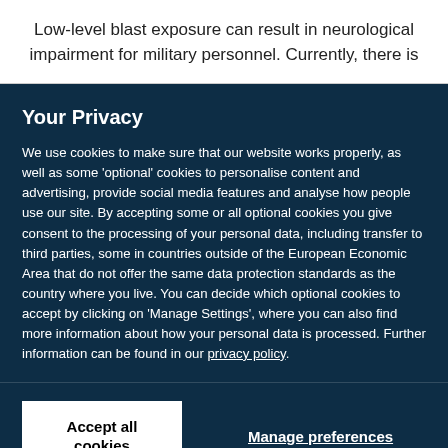Low-level blast exposure can result in neurological impairment for military personnel. Currently, there is
Your Privacy
We use cookies to make sure that our website works properly, as well as some 'optional' cookies to personalise content and advertising, provide social media features and analyse how people use our site. By accepting some or all optional cookies you give consent to the processing of your personal data, including transfer to third parties, some in countries outside of the European Economic Area that do not offer the same data protection standards as the country where you live. You can decide which optional cookies to accept by clicking on 'Manage Settings', where you can also find more information about how your personal data is processed. Further information can be found in our privacy policy.
Accept all cookies
Manage preferences